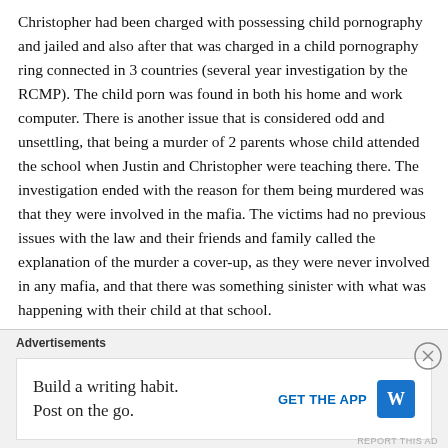Christopher had been charged with possessing child pornography and jailed and also after that was charged in a child pornography ring connected in 3 countries (several year investigation by the RCMP). The child porn was found in both his home and work computer. There is another issue that is considered odd and unsettling, that being a murder of 2 parents whose child attended the school when Justin and Christopher were teaching there. The investigation ended with the reason for them being murdered was that they were involved in the mafia. The victims had no previous issues with the law and their friends and family called the explanation of the murder a cover-up, as they were never involved in any mafia, and that there was something sinister with what was happening with their child at that school. Something is just not adding up with Justin and his
Advertisements
Build a writing habit. Post on the go.
GET THE APP